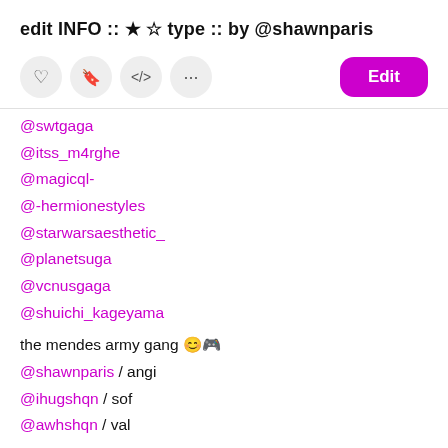edit INFO :: ★ ☆ type :: by @shawnparis
@swtgaga
@itss_m4rghe
@magicql-
@-hermionestyles
@starwarsaesthetic_
@planetsuga
@vcnusgaga
@shuichi_kageyama
the mendes army gang 😊🎮
@shawnparis / angi
@ihugshqn / sof
@awhshqn / val
shawn's swaggy muffins 🎮🎮
@awhshqn
@gracerenity
@keira-helps
@shawnparis
@fqiryhood
@noodlelover-